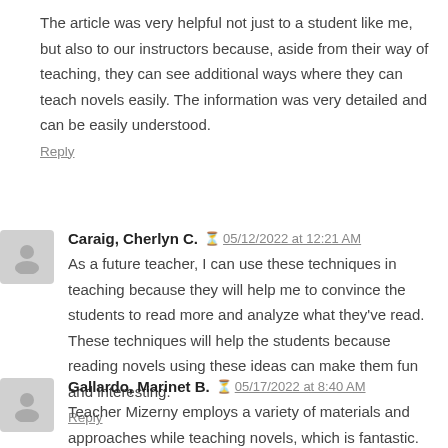The article was very helpful not just to a student like me, but also to our instructors because, aside from their way of teaching, they can see additional ways where they can teach novels easily. The information was very detailed and can be easily understood.
Reply
Caraig, Cherlyn C.  05/12/2022 at 12:21 AM
As a future teacher, I can use these techniques in teaching because they will help me to convince the students to read more and analyze what they've read. These techniques will help the students because reading novels using these ideas can make them fun and interesting.
Reply
Gallardo, Marinet B.  05/17/2022 at 8:40 AM
Teacher Mizerny employs a variety of materials and approaches while teaching novels, which is fantastic. In fact,